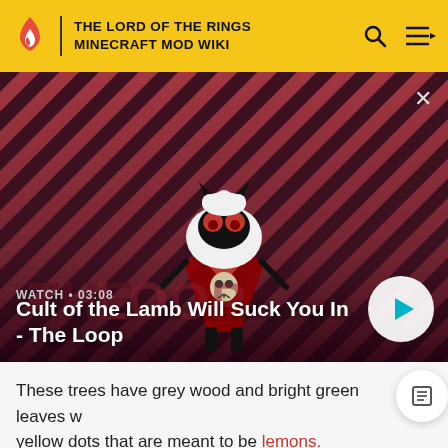THE LORD OF THE RINGS MINECRAFT MOD WIKI
[Figure (screenshot): Video thumbnail for 'Cult of the Lamb Will Suck You In - The Loop' with a cartoon lamb character on a red diagonal striped background. Shows WATCH • 03:08 label and a play button.]
Cult of the Lamb Will Suck You In - The Loop
These trees have grey wood and bright green leaves with yellow dots that are meant to be lemons.
Uses